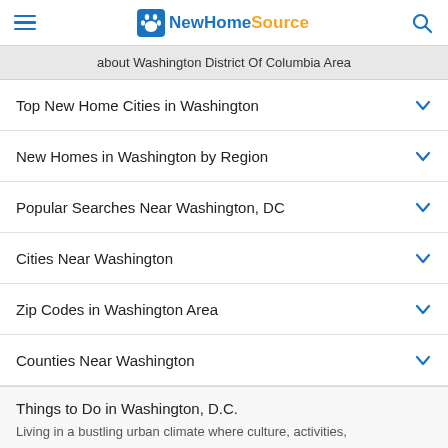NewHomeSource
about Washington District Of Columbia Area
Top New Home Cities in Washington
New Homes in Washington by Region
Popular Searches Near Washington, DC
Cities Near Washington
Zip Codes in Washington Area
Counties Near Washington
Things to Do in Washington, D.C.
Living in a bustling urban climate where culture, activities,